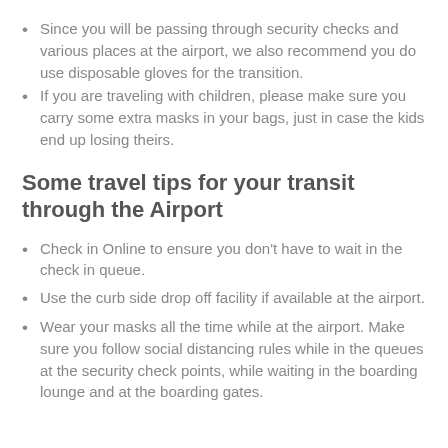Since you will be passing through security checks and various places at the airport, we also recommend you do use disposable gloves for the transition.
If you are traveling with children, please make sure you carry some extra masks in your bags, just in case the kids end up losing theirs.
Some travel tips for your transit through the Airport
Check in Online to ensure you don't have to wait in the check in queue.
Use the curb side drop off facility if available at the airport.
Wear your masks all the time while at the airport. Make sure you follow social distancing rules while in the queues at the security check points, while waiting in the boarding lounge and at the boarding gates.